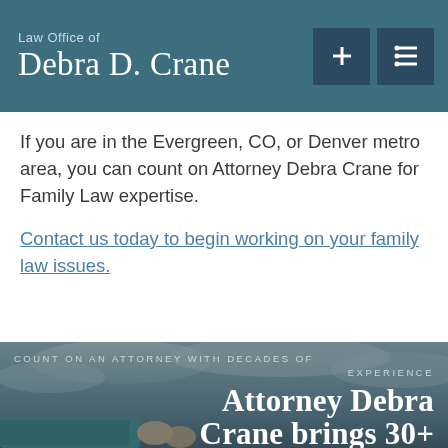Law Office of Debra D. Crane
If you are in the Evergreen, CO, or Denver metro area, you can count on Attorney Debra Crane for Family Law expertise.
Contact us today to begin working on your family law issues.
[Figure (photo): Background photo of a person holding a kayak paddle against a cloudy sky, with overlaid text.]
COUNT ON AN ATTORNEY WITH DECADES OF EXPERIENCE
Attorney Debra Crane brings 30+